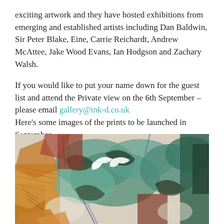exciting artwork and they have hosted exhibitions from emerging and established artists including Dan Baldwin, Sir Peter Blake, Eine, Carrie Reichardt, Andrew McAttee, Jake Wood Evans, Ian Hodgson and Zachary Walsh.
If you would like to put your name down for the guest list and attend the Private view on the 6th September – please email gallery@ink-d.co.uk
Here's some images of the prints to be launched in September…
[Figure (photo): Close-up photograph of colorful mixed-media artwork featuring abstract shapes in teal, green, brown, gold/copper textures, white bird silhouettes, and dark painted strokes on a light background.]